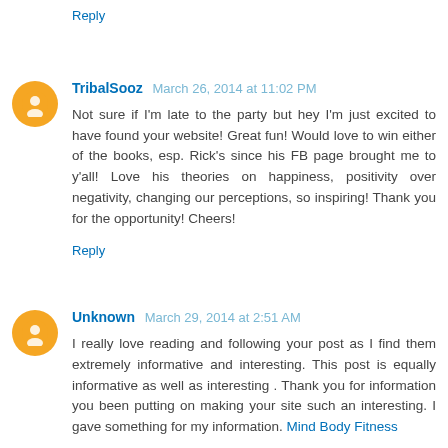Reply
TribalSooz March 26, 2014 at 11:02 PM
Not sure if I'm late to the party but hey I'm just excited to have found your website! Great fun! Would love to win either of the books, esp. Rick's since his FB page brought me to y'all! Love his theories on happiness, positivity over negativity, changing our perceptions, so inspiring! Thank you for the opportunity! Cheers!
Reply
Unknown March 29, 2014 at 2:51 AM
I really love reading and following your post as I find them extremely informative and interesting. This post is equally informative as well as interesting . Thank you for information you been putting on making your site such an interesting. I gave something for my information. Mind Body Fitness
Reply